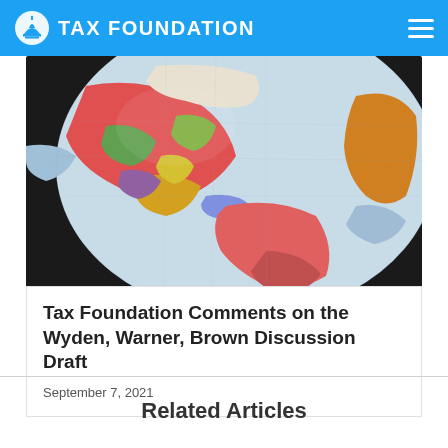TAX FOUNDATION
[Figure (photo): Close-up photograph of a colorful globe showing North America, South America, and surrounding regions with vibrant pink, red, green, yellow, and blue colors on a dark background.]
Tax Foundation Comments on the Wyden, Warner, Brown Discussion Draft
September 7, 2021
Related Articles